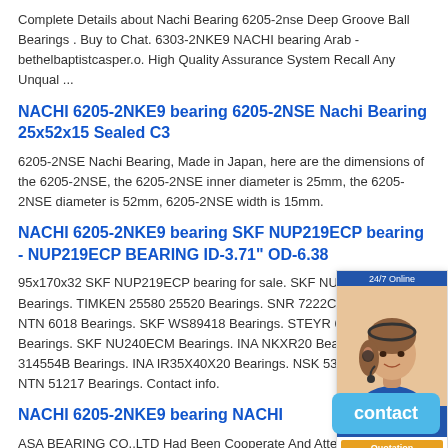Complete Details about Nachi Bearing 6205-2nse Deep Groove Ball Bearings . Buy to Chat. 6303-2NKE9 NACHI bearing Arab - bethelbaptistcasper.o. High Quality Assurance System Recall Any Unqual ...
NACHI 6205-2NKE9 bearing 6205-2NSE Nachi Bearing 25x52x15 Sealed C3
6205-2NSE Nachi Bearing, Made in Japan, here are the dimensions of the 6205-2NSE, the 6205-2NSE inner diameter is 25mm, the 6205-2NSE diameter is 52mm, 6205-2NSE width is 15mm.
NACHI 6205-2NKE9 bearing SKF NUP219ECP bearing - NUP219ECP BEARING ID-3.71" OD-6.38
95x170x32 SKF NUP219ECP bearing for sale. SKF NUP219ECP Bearings. TIMKEN 25580 25520 Bearings. SNR 7222C DT Bearings. NTN 6018 Bearings. SKF WS89418 Bearings. STEYR 6205 Z Bearings. SKF NU240ECM Bearings. INA NKXR20 Bearings. SKF 314554B Bearings. INA IR35X40X20 Bearings. NSK 53314 Bearings. NTN 51217 Bearings. Contact info.
NACHI 6205-2NKE9 bearing NACHI
ASA BEARING CO.,LTD Had Been Cooperate And Atten Official Authorised Distributors For Some Of The World's Leading Manufacturers Like SKF FAG, TIMKEN, NTN, NSK, NACHI, IKO, KOYO, INA.
NACHI 6205-2NKE9 bearing NACHI 6215-2NKE bearing, bearing
[Figure (photo): Customer service chat widget showing a woman with headset and '24/7 Online' label, with quotation/inquiry button]
[Figure (other): Blue 'contact' button overlay in bottom right corner]